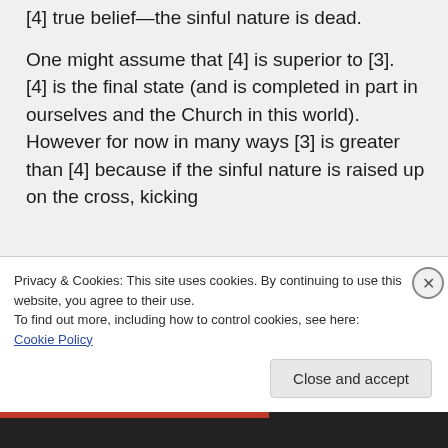[4] true belief—the sinful nature is dead.
One might assume that [4] is superior to [3]. [4] is the final state (and is completed in part in ourselves and the Church in this world). However for now in many ways [3] is greater than [4] because if the sinful nature is raised up on the cross, kicking
Privacy & Cookies: This site uses cookies. By continuing to use this website, you agree to their use.
To find out more, including how to control cookies, see here: Cookie Policy